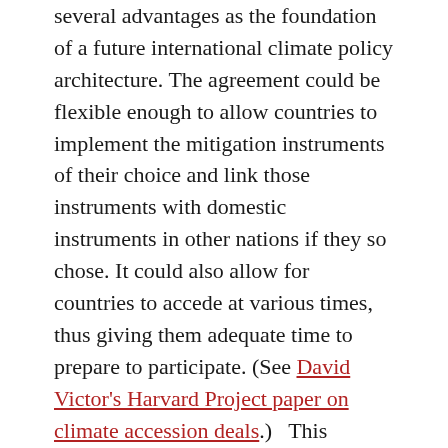several advantages as the foundation of a future international climate policy architecture. The agreement could be flexible enough to allow countries to implement the mitigation instruments of their choice and link those instruments with domestic instruments in other nations if they so chose. It could also allow for countries to accede at various times, thus giving them adequate time to prepare to participate. (See David Victor's Harvard Project paper on climate accession deals.) This approach could also be an ideal vehicle for implementing the principle of common but differentiated responsibilities, since member countries would not need to be lumped together into rigid tiers of commitment (as they are under the dichotomous Annex I